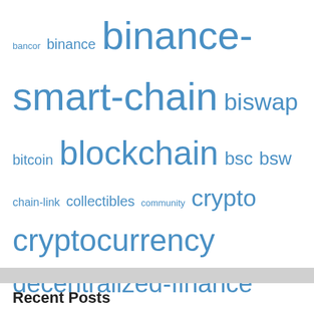[Figure (infographic): Tag cloud of cryptocurrency and DeFi related terms in varying font sizes rendered in blue, including: bancor, binance, binance-smart-chain, biswap, bitcoin, blockchain, bsc, bsw, chain-link, collectibles, community, crypto, cryptocurrency, decentralized-finance, Decentralized Finance (DeFi), defi, dex, ethereum, finance, harvest-finance, Injective, Latest News, Markets, news, Newsletter, nft, pancakebunny, pancakeswap, partnerships, polkadot, Polygon, renvm, serum, solana-network, sushiswap, synthetix, updates, vesper, web3, yield-farming]
Recent Posts